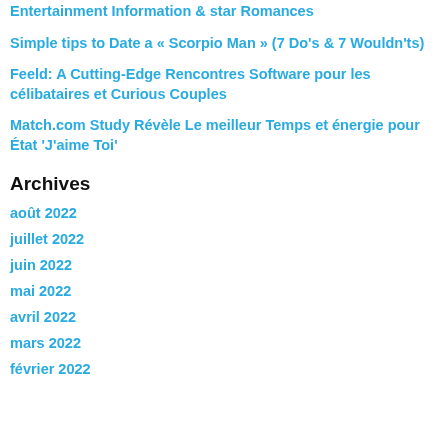Dailey Gossip Keeps Readers Updated on Spilling Entertainment Information & star Romances
Simple tips to Date a « Scorpio Man » (7 Do's & 7 Wouldn'ts)
Feeld: A Cutting-Edge Rencontres Software pour les célibataires et Curious Couples
Match.com Study Révèle Le meilleur Temps et énergie pour État 'J'aime Toi'
Archives
août 2022
juillet 2022
juin 2022
mai 2022
avril 2022
mars 2022
février 2022